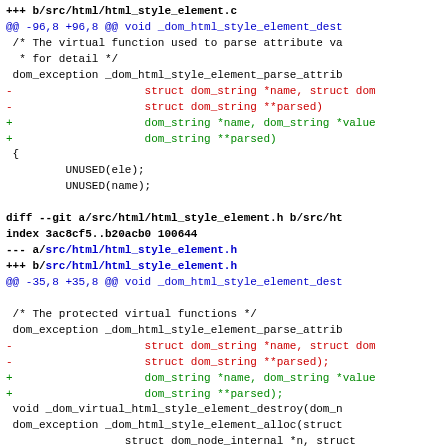code diff showing changes to html_style_element.c and html_style_element.h and html_title_element.c
[Figure (screenshot): Git diff output showing changes to src/html/html_style_element.c and src/html/html_style_element.h, with removed lines in red and added lines in green]